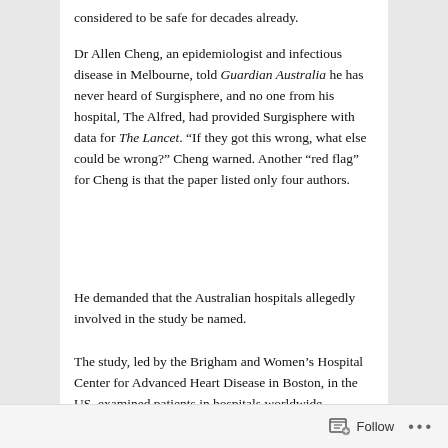considered to be safe for decades already.
Dr Allen Cheng, an epidemiologist and infectious disease in Melbourne, told Guardian Australia he has never heard of Surgisphere, and no one from his hospital, The Alfred, had provided Surgisphere with data for The Lancet. “If they got this wrong, what else could be wrong?” Cheng warned. Another “red flag” for Cheng is that the paper listed only four authors.
He demanded that the Australian hospitals allegedly involved in the study be named.
The study, led by the Brigham and Women’s Hospital Center for Advanced Heart Disease in Boston, in the US, examined patients in hospitals worldwide, including allegedly in Australia. It claimed that researchers had gained access to data from five hospitals recording 600 Australian Covid-19 patients and 73 Australian deaths as of 21 April.
Follow ...